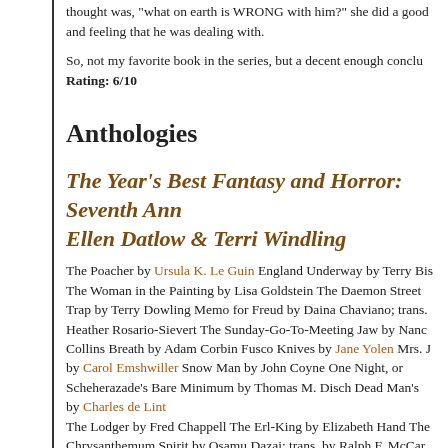thought was, "what on earth is WRONG with him?" she did a good job and feeling that he was dealing with.
So, not my favorite book in the series, but a decent enough conclu
Rating: 6/10
Anthologies
The Year's Best Fantasy and Horror: Seventh Ann Ellen Datlow & Terri Windling
The Poacher by Ursula K. Le Guin England Underway by Terry Bis The Woman in the Painting by Lisa Goldstein The Daemon Street Trap by Terry Dowling Memo for Freud by Daina Chaviano; trans. Heather Rosario-Sievert The Sunday-Go-To-Meeting Jaw by Nanc Collins Breath by Adam Corbin Fusco Knives by Jane Yolen Mrs. by Carol Emshwiller Snow Man by John Coyne One Night, or Scheherazade's Bare Minimum by Thomas M. Disch Dead Man's by Charles de Lint The Lodger by Fred Chappell The Erl-King by Elizabeth Hand The Chrysanthemum Spirit by Osamu Dazai; trans. by Ralph F. McCar Angel by Mary Ellis The Taking of Mr. Bill by Graham Masterton Th by Gabriel García Márquez; trans. by Edith Grossman Cottage by McAllister Doodles by Steve Rasnic Tem Dying in Bangkok by Da Simmons Prisoners of the Royal Weather by Bruce Boston The Sn Queen by Patricia A. McKillip Troll Bridge by Neil Gaiman The Sto by Rafik Schami Rice and Milk by Rosario Ferr, Ridi Bobo by Rob